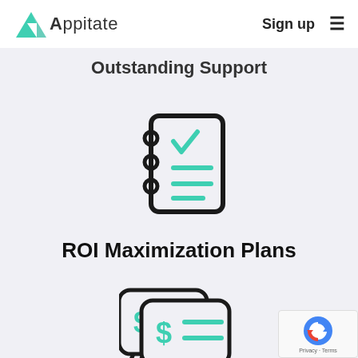Appitate  Sign up  ≡
Outstanding Support
[Figure (illustration): Notebook/checklist icon with teal checkmark and teal horizontal lines, black outline style]
ROI Maximization Plans
[Figure (illustration): Speech bubble with dollar sign and horizontal lines icon, black outline with teal fill, representing billing or pricing plans]
[Figure (other): reCAPTCHA privacy badge in bottom right corner showing Privacy - Terms]